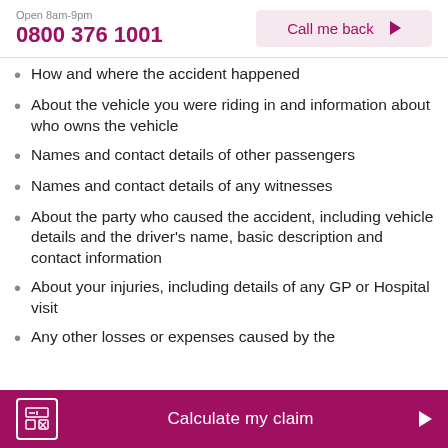Open 8am-9pm
0800 376 1001
Call me back
How and where the accident happened
About the vehicle you were riding in and information about who owns the vehicle
Names and contact details of other passengers
Names and contact details of any witnesses
About the party who caused the accident, including vehicle details and the driver's name, basic description and contact information
About your injuries, including details of any GP or Hospital visit
Any other losses or expenses caused by the
Calculate my claim